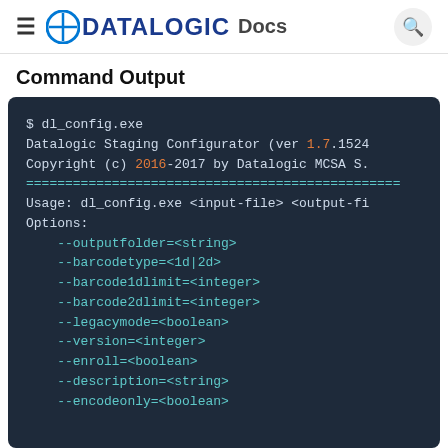≡ ✦DATALOGIC Docs 🔍
Command Output
[Figure (screenshot): Terminal/command-line output showing dl_config.exe usage. Dark navy background with monospace text. Shows: '$ dl_config.exe', 'Datalogic Staging Configurator (ver 1.7.1524...', 'Copyright (c) 2016-2017 by Datalogic MCSA S.', a line of equals signs, 'Usage: dl_config.exe <input-file> <output-fi...', 'Options:', then cyan colored options: --outputfolder=<string>, --barcodetype=<1d|2d>, --barcode1dlimit=<integer>, --barcode2dlimit=<integer>, --legacymode=<boolean>, --version=<integer>, --enroll=<boolean>, --description=<string>, --encodeonly=<boolean>]